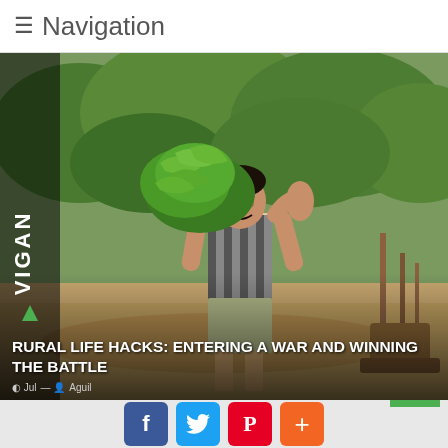≡ Navigation
[Figure (photo): Man carrying a large bunch of green bananas on his shoulder, outdoors in a rural setting with trees and dry ground, wearing a striped tank top and shorts. The word VIGAN with a green triangle logo appears on the left sidebar overlay.]
RURAL LIFE HACKS: ENTERING A WAR AND WINNING THE BATTLE
Jul [date] - [author]